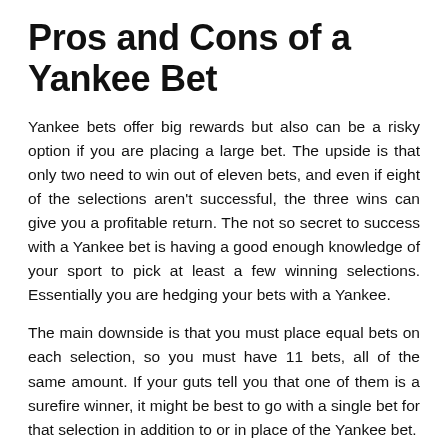Pros and Cons of a Yankee Bet
Yankee bets offer big rewards but also can be a risky option if you are placing a large bet. The upside is that only two need to win out of eleven bets, and even if eight of the selections aren't successful, the three wins can give you a profitable return. The not so secret to success with a Yankee bet is having a good enough knowledge of your sport to pick at least a few winning selections. Essentially you are hedging your bets with a Yankee.
The main downside is that you must place equal bets on each selection, so you must have 11 bets, all of the same amount. If your guts tell you that one of them is a surefire winner, it might be best to go with a single bet for that selection in addition to or in place of the Yankee bet.